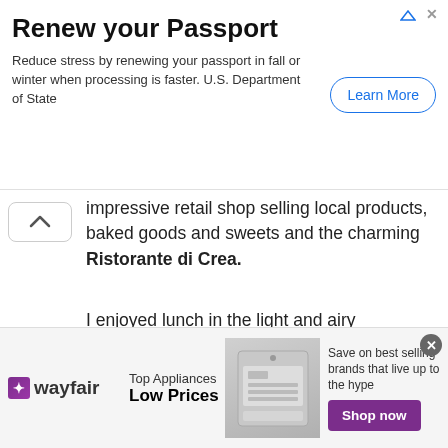[Figure (screenshot): Top advertisement banner: Renew your Passport - U.S. Department of State ad with Learn More button]
impressive retail shop selling local products, baked goods and sweets and the charming Ristorante di Crea.
I enjoyed lunch in the light and airy restaurant with a view of the park. Typical of the Piedmont, the meal began with a bubbling hot, garlicy-anchovy bagna cauda served with thin slices of raw vegetables and beef before moving on to a generous serving of agnolottt, filled with braised veal cheek
[Figure (screenshot): Wayfair advertisement: Top Appliances Low Prices - Save on best selling brands that live up to the hype - Shop now button]